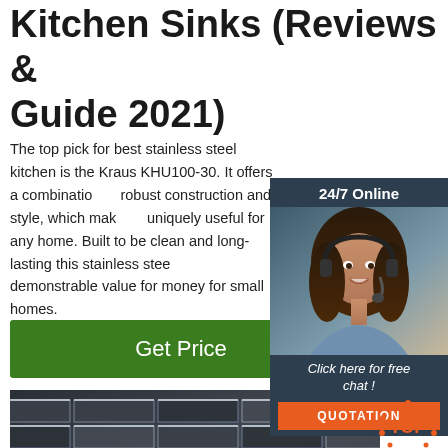Kitchen Sinks (Reviews & Guide 2021)
The top pick for best stainless steel kitchen is the Kraus KHU100-30. It offers a combination of robust construction and style, which makes it uniquely useful for any home. Built to be clean and long-lasting this stainless steel gives demonstrable value for money for small homes.
[Figure (infographic): Advertisement box with dark navy background. Header text '24/7 Online'. Photo of a woman with a headset smiling. Footer text 'Click here for free chat!' and an orange button labeled 'QUOTATION'.]
[Figure (photo): Close-up photograph of stainless steel metal beams or channels arranged in a grid pattern, dark metallic tones with silver highlights.]
[Figure (logo): Orange dotted circle logo with 'TOP' text in orange on white background, bottom right corner.]